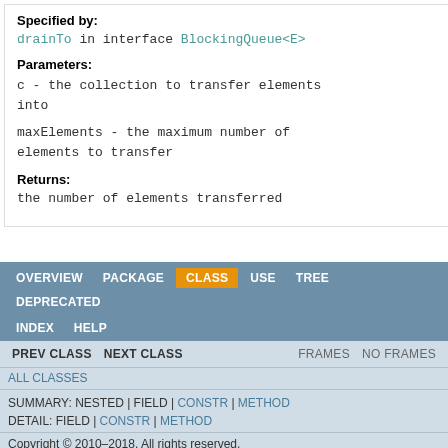Specified by:
drainTo in interface BlockingQueue<E>
Parameters:
c - the collection to transfer elements into
maxElements - the maximum number of elements to transfer
Returns:
the number of elements transferred
OVERVIEW   PACKAGE   CLASS   USE   TREE   DEPRECATED   INDEX   HELP   PREV CLASS   NEXT CLASS   FRAMES   NO FRAMES   ALL CLASSES   SUMMARY: NESTED | FIELD | CONSTR | METHOD   DETAIL: FIELD | CONSTR | METHOD   Copyright © 2010-2018. All rights reserved.